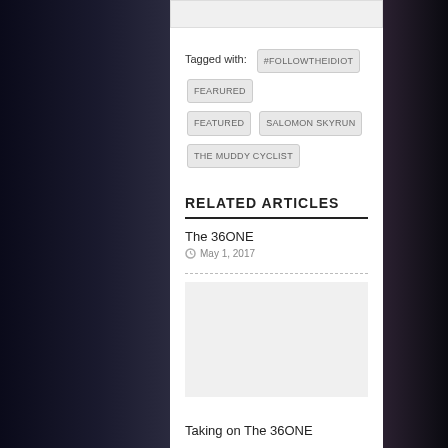Tagged with: #FOLLOWTHEIDIOT  FEARURED  FEATURED  SALOMON SKYRUN  THE MUDDY CYCLIST
RELATED ARTICLES
The 36ONE
May 1, 2017
Taking on The 36ONE